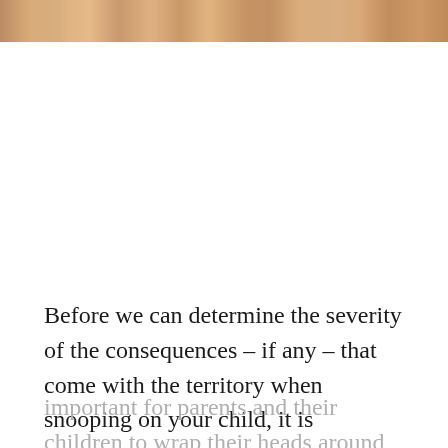[Figure (photo): A cropped strip at the top of the page showing a partial photograph of people, rendered in warm orange/brown tones.]
Before we can determine the severity of the consequences – if any – that come with the territory when snooping on your child, it is important for parents and their children to wrap their heads around what snooping actually is.